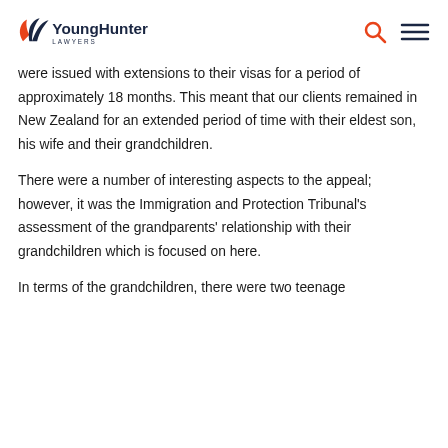YoungHunter Lawyers
were issued with extensions to their visas for a period of approximately 18 months. This meant that our clients remained in New Zealand for an extended period of time with their eldest son, his wife and their grandchildren.
There were a number of interesting aspects to the appeal; however, it was the Immigration and Protection Tribunal's assessment of the grandparents' relationship with their grandchildren which is focused on here.
In terms of the grandchildren, there were two teenage